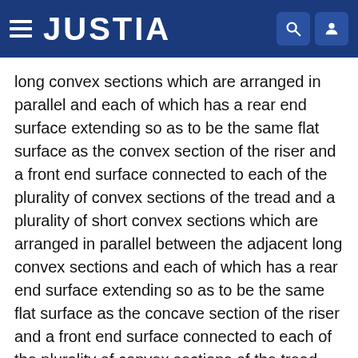JUSTIA
long convex sections which are arranged in parallel and each of which has a rear end surface extending so as to be the same flat surface as the convex section of the riser and a front end surface connected to each of the plurality of convex sections of the tread and a plurality of short convex sections which are arranged in parallel between the adjacent long convex sections and each of which has a rear end surface extending so as to be the same flat surface as the concave section of the riser and a front end surface connected to each of the plurality of convex sections of the tread,
a length of each of the long convex sections of the shock absorbing cleat is set to 20 mm to 50 mm, a length of each of the short convex sections is set to